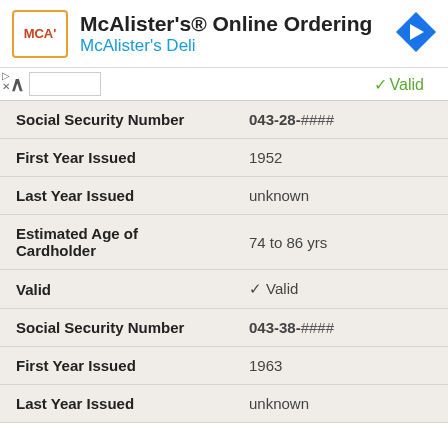[Figure (logo): McAlister's Deli ad banner with logo, title 'McAlister's® Online Ordering', subtitle 'McAlister's Deli', and navigation arrow icon]
| Field | Value |
| --- | --- |
|  | ✓ Valid |
| Social Security Number | 043-28-#### |
| First Year Issued | 1952 |
| Last Year Issued | unknown |
| Estimated Age of Cardholder | 74 to 86 yrs |
| Valid | ✓ Valid |
| Social Security Number | 043-38-#### |
| First Year Issued | 1963 |
| Last Year Issued | unknown |